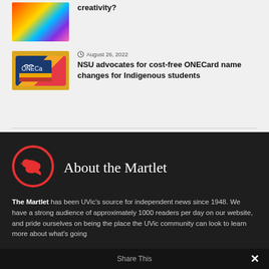[Figure (photo): Thumbnail of colorful abstract art with flame-like colors]
[Figure (photo): Thumbnail of a UVic ONECard on a yellow background]
August 26, 2022
NSU advocates for cost-free ONECard name changes for Indigenous students
[Figure (logo): Martlet logo: red circle with red bird silhouette inside]
About the Martlet
The Martlet has been UVic's source for independent news since 1948. We have a strong audience of approximately 1000 readers per day on our website, and pride ourselves on being the place the UVic community can look to learn more about what's going
Share This